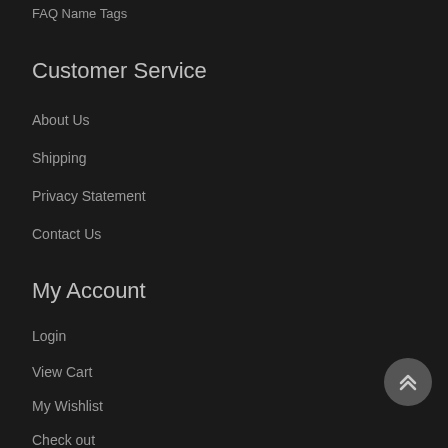FAQ Name Tags
Customer Service
About Us
Shipping
Privacy Statement
Contact Us
My Account
Login
View Cart
My Wishlist
Check out
Contact Us
[Figure (other): Scroll-to-top button with double chevron up icon]